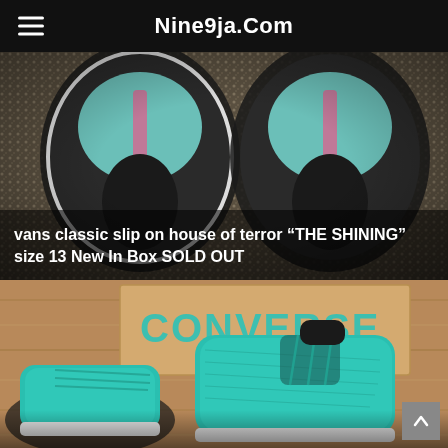Nine9ja.Com
[Figure (photo): Close-up top-down photo of two Vans Classic Slip-On shoes with teal/mint toe boxes featuring a pink stripe, placed on a speckled stone surface. White text caption overlaid at bottom.]
vans classic slip on house of terror “THE SHINING” size 13 New In Box SOLD OUT
[Figure (photo): Photo of teal/mint green Converse high-top knit sneakers lying in front of a Converse branded cardboard box on a wood floor.]